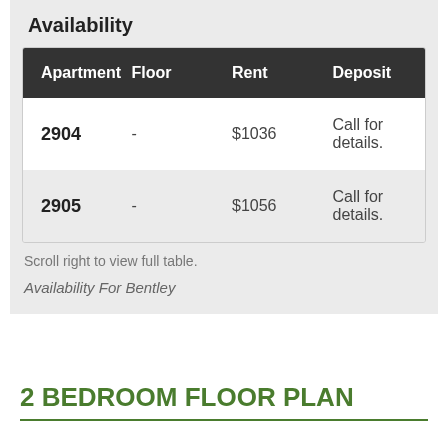Availability
| Apartment | Floor | Rent | Deposit |
| --- | --- | --- | --- |
| 2904 | - | $1036 | Call for details. |
| 2905 | - | $1056 | Call for details. |
Scroll right to view full table.
Availability For Bentley
2 BEDROOM FLOOR PLAN